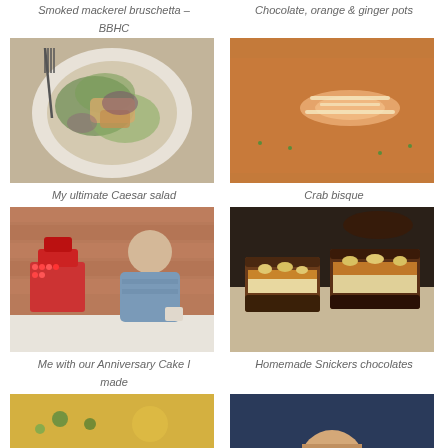Smoked mackerel bruschetta – BBHC
Chocolate, orange & ginger pots
[Figure (photo): Overhead shot of a Caesar salad on a white plate with a fork]
[Figure (photo): Crab bisque soup in a bowl with toppings]
My ultimate Caesar salad
Crab bisque
[Figure (photo): Person posing with a tiered anniversary cake covered in red berries]
[Figure (photo): Homemade Snickers chocolates cut in cross-section showing layers]
Me with our Anniversary Cake I made
Homemade Snickers chocolates
[Figure (photo): Yellow/green soup with herbs, partially visible]
[Figure (photo): Person partially visible at bottom, dark background]